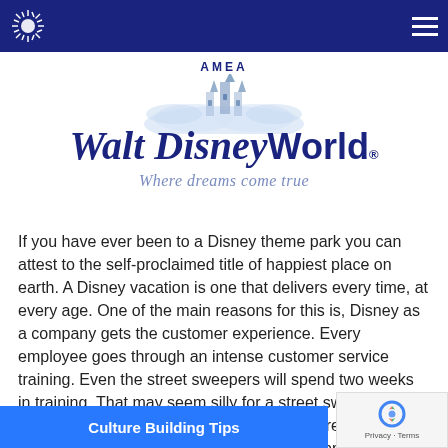[Figure (logo): AMEA logo with Walt Disney World branding — 'AMEA' text above a castle silhouette with clouds, then the Walt Disney World® wordmark in dark navy blue, with tagline 'Where dreams come true' in italic blue-gray below]
If you have ever been to a Disney theme park you can attest to the self-proclaimed title of happiest place on earth. A Disney vacation is one that delivers every time, at every age. One of the main reasons for this is, Disney as a company gets the customer experience. Every employee goes through an intense customer service training. Even the street sweepers will spend two weeks in training. That may seem silly for a street sweeper, anyone can sweep, but it is not about the street sweeping. The customer service training is about equipping the employees with the tools to give the guests the best experience. Employees are trained in high customer service standards.